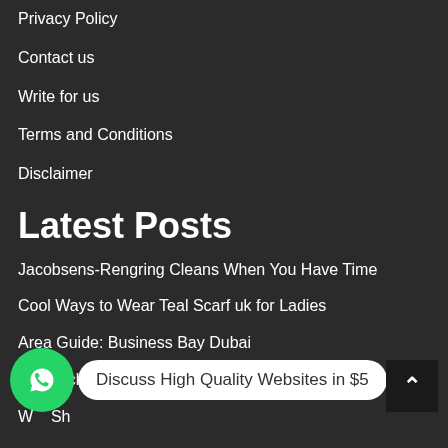Privacy Policy
Contact us
Write for us
Terms and Conditions
Disclaimer
Latest Posts
Jacobsens-Rengring Cleans When You Have Time
Cool Ways to Wear Teal Scarf uk for Ladies
Area Guide: Business Bay Dubai
Seven clue for Choosing the Perfect Baby Name
W... Sh...
[Figure (infographic): WhatsApp chat button with green icon and white bubble saying 'Discuss High Quality Websites in $5']
Categories